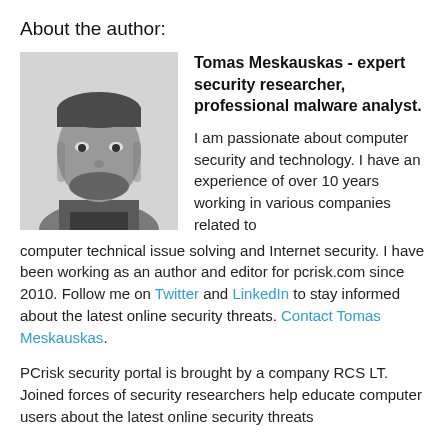About the author:
[Figure (photo): Black and white portrait photo of Tomas Meskauskas]
Tomas Meskauskas - expert security researcher, professional malware analyst.

I am passionate about computer security and technology. I have an experience of over 10 years working in various companies related to computer technical issue solving and Internet security. I have been working as an author and editor for pcrisk.com since 2010. Follow me on Twitter and LinkedIn to stay informed about the latest online security threats. Contact Tomas Meskauskas.
PCrisk security portal is brought by a company RCS LT. Joined forces of security researchers help educate computer users about the latest online security threats